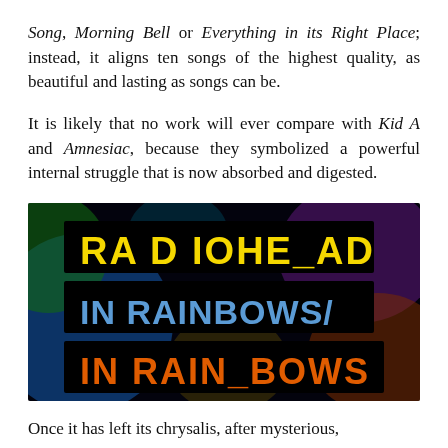Song, Morning Bell or Everything in its Right Place; instead, it aligns ten songs of the highest quality, as beautiful and lasting as songs can be.
It is likely that no work will ever compare with Kid A and Amnesiac, because they symbolized a powerful internal struggle that is now absorbed and digested.
[Figure (photo): Radiohead In Rainbows album cover/promotional image with colorful blurred background and three rows of black bars with text: 'RA D IOHE_AD' in yellow, 'IN RAINBOWS/' in blue, 'IN RAIN_BOWS' in orange]
Once it has left its chrysalis, after mysterious,